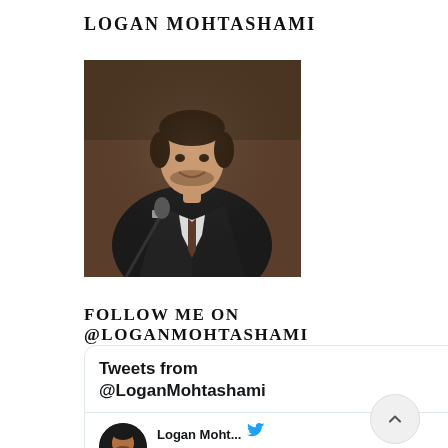LOGAN MOHTASHAMI
[Figure (photo): Photo of Logan Mohtashami, a man in a dark suit speaking at a microphone, smiling, professional headshot style]
FOLLOW ME ON @LOGANMOHTASHAMI
[Figure (screenshot): Twitter widget showing 'Tweets from @LoganMohtashami' with a tweet by Logan Moht... (@Loga...) posted 8m ago, replying to @LoganMohtashami]
Tweets from @LoganMohtashami
Logan Moht... @Loga... · 8m
Replying to
@LoganMohtashami